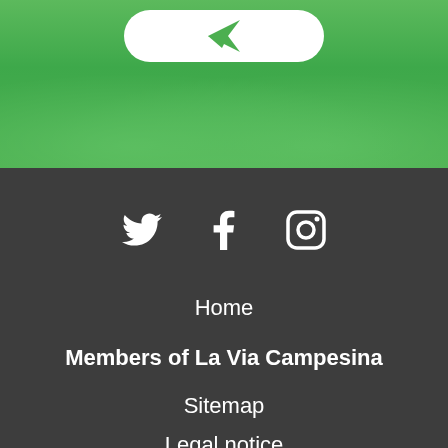[Figure (screenshot): Green banner/hero section with white rounded send button containing a paper plane icon, over a green tinted hands image]
[Figure (infographic): Dark grey footer section with Twitter, Facebook, and Instagram social media icons in white]
Home
Members of La Via Campesina
Sitemap
Legal notice